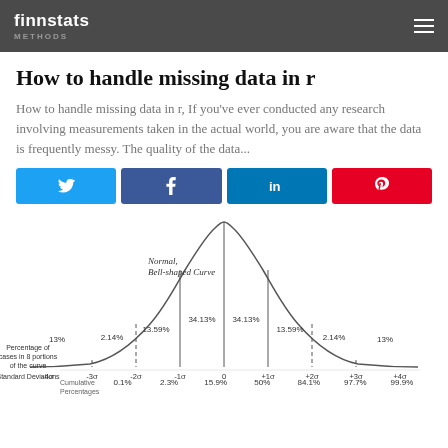finnstats — METHODS
How to handle missing data in r
How to handle missing data in r, If you've ever conducted any research involving measurements taken in the actual world, you are aware that the data is frequently messy. The quality of the data...
[Figure (other): Social share buttons: Twitter, Facebook, LinkedIn, Pinterest]
[Figure (continuous-plot): Normal Bell-shaped Curve diagram showing percentage of cases in 8 portions of the curve, Standard Deviations from -4σ to +4σ, and Cumulative Percentages. Values shown: 13%, 2.14%, 13.59%, 34.13%, 34.13%, 13.59%, 2.14%, 13%. Standard Deviations: -4σ, -3σ, -2σ, -1σ, 0, +1σ, +2σ, +3σ, +4σ. Cumulative Percentages: 0.1%, 2.3%, 15.9%, 50%, 84.1%, 97.7%, 99.9%]